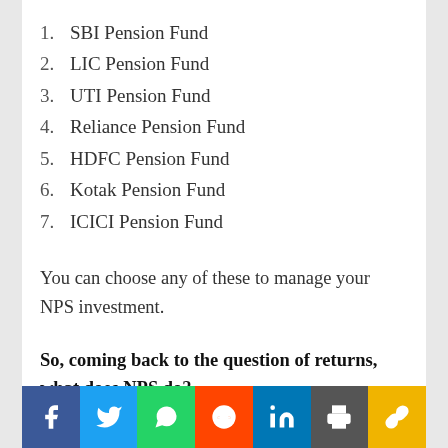1. SBI Pension Fund
2. LIC Pension Fund
3. UTI Pension Fund
4. Reliance Pension Fund
5. HDFC Pension Fund
6. Kotak Pension Fund
7. ICICI Pension Fund
You can choose any of these to manage your NPS investment.
So, coming back to the question of returns, what does NPS do?